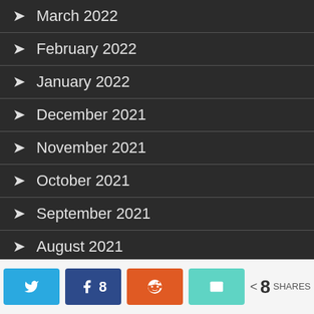March 2022
February 2022
January 2022
December 2021
November 2021
October 2021
September 2021
August 2021
8 SHARES